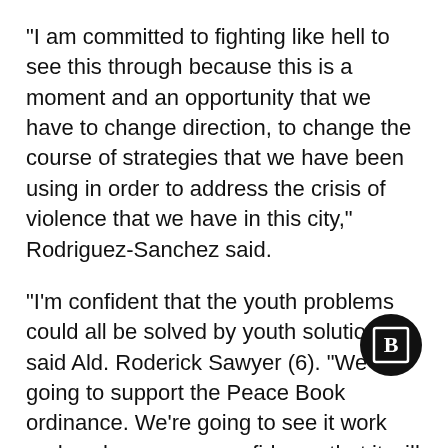“I am committed to fighting like hell to see this through because this is a moment and an opportunity that we have to change direction, to change the course of strategies that we have been using in order to address the crisis of violence that we have in this city,” Rodriguez-Sanchez said.
“I’m confident that the youth problems could all be solved by youth solutions,” said Ald. Roderick Sawyer (6). “We’re going to support the Peace Book ordinance. We’re going to see it work and we have every confidence that it will be successful.”
[Figure (logo): Black circular logo with a bold letter B inside a square border]
“The administration needs to listen to the kids,”